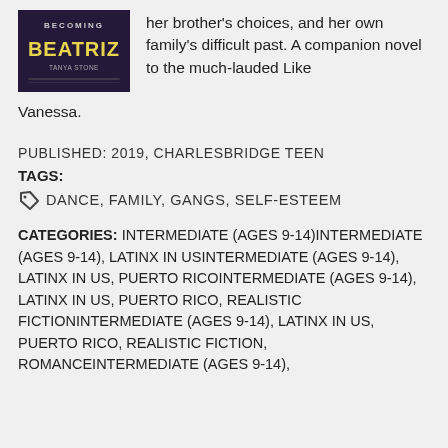[Figure (illustration): Book cover for 'Becoming Beatriz' with dark background and stylized text]
her brother's choices, and her own family's difficult past. A companion novel to the much-lauded Like Vanessa.
PUBLISHED: 2019, CHARLESBRIDGE TEEN
TAGS:
DANCE, FAMILY, GANGS, SELF-ESTEEM
CATEGORIES: INTERMEDIATE (AGES 9-14)INTERMEDIATE (AGES 9-14), LATINX IN USINTERMEDIATE (AGES 9-14), LATINX IN US, PUERTO RICOINTERMEDIATE (AGES 9-14), LATINX IN US, PUERTO RICO, REALISTIC FICTIONINTERMEDIATE (AGES 9-14), LATINX IN US, PUERTO RICO, REALISTIC FICTION, ROMANCEINTERMEDIATE (AGES 9-14),